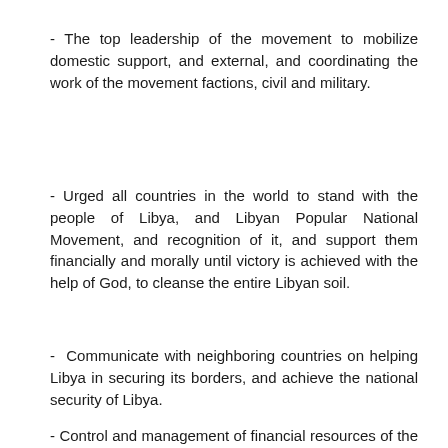- The top leadership of the movement to mobilize domestic support, and external, and coordinating the work of the movement factions, civil and military.
- Urged all countries in the world to stand with the people of Libya, and Libyan Popular National Movement, and recognition of it, and support them financially and morally until victory is achieved with the help of God, to cleanse the entire Libyan soil.
- Communicate with neighboring countries on helping Libya in securing its borders, and achieve the national security of Libya.
- Control and management of financial resources of the movement, and the identification of